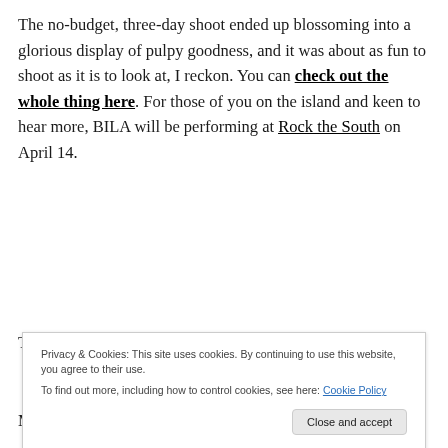The no-budget, three-day shoot ended up blossoming into a glorious display of pulpy goodness, and it was about as fun to shoot as it is to look at, I reckon. You can check out the whole thing here. For those of you on the island and keen to hear more, BILA will be performing at Rock the South on April 14.
The Belliegha's aesthetic certainly lies on the
Mediterranean Gothic during past couple of weeks, as
Privacy & Cookies: This site uses cookies. By continuing to use this website, you agree to their use. To find out more, including how to control cookies, see here: Cookie Policy